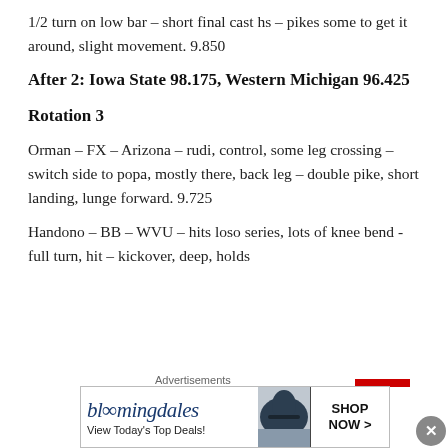1/2 turn on low bar – short final cast hs – pikes some to get it around, slight movement. 9.850
After 2: Iowa State 98.175, Western Michigan 96.425
Rotation 3
Orman – FX – Arizona – rudi, control, some leg crossing – switch side to popa, mostly there, back leg – double pike, short landing, lunge forward. 9.725
Handono – BB – WVU – hits loso series, lots of knee bend -full turn, hit – kickover, deep, holds
[Figure (other): Bloomingdale's advertisement banner with hat image and 'View Today's Top Deals!' text, with 'SHOP NOW >' button]